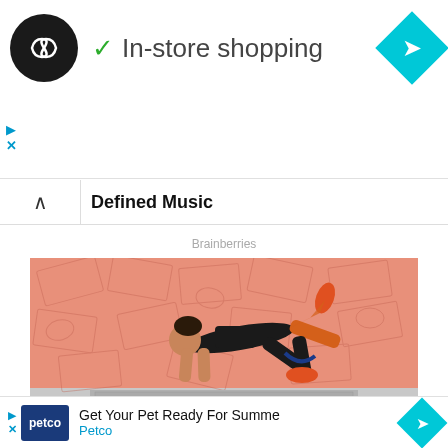[Figure (screenshot): Top advertisement banner with black circular logo with infinity-like symbol, checkmark and 'In-store shopping' text, cyan navigation diamond arrow on right, play and close ad controls on left]
Defined Music
Brainberries
[Figure (photo): Woman in black athletic wear doing a plank/mountain climber exercise with resistance band around legs, on a background with pink/salmon-colored money bill pattern, exercising on a dollar bill yoga mat]
Get Fit Without Spending Money On A Gym
[Figure (screenshot): Bottom advertisement for Petco with dark blue Petco logo, text 'Get Your Pet Ready For Summe' and 'Petco', cyan navigation diamond arrow on right]